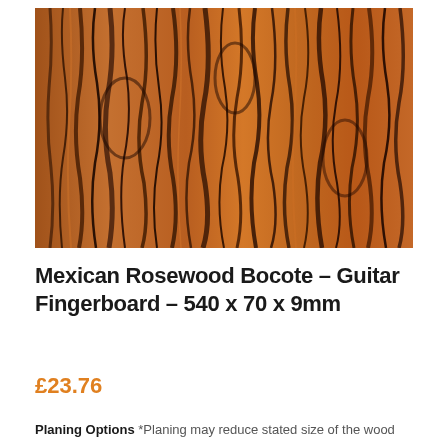[Figure (photo): Close-up photograph of Mexican Rosewood Bocote wood grain showing warm orange-brown tones with dark black streaking patterns running vertically through the wood.]
Mexican Rosewood Bocote – Guitar Fingerboard – 540 x 70 x 9mm
£23.76
Planing Options *Planing may reduce stated size of the wood